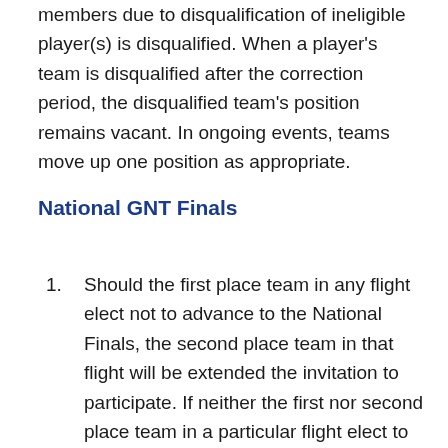members due to disqualification of ineligible player(s) is disqualified. When a player's team is disqualified after the correction period, the disqualified team's position remains vacant. In ongoing events, teams move up one position as appropriate.
National GNT Finals
Should the first place team in any flight elect not to advance to the National Finals, the second place team in that flight will be extended the invitation to participate. If neither the first nor second place team in a particular flight elect to advance to the National Finals, District 17 will not be represented in that flight. When there are